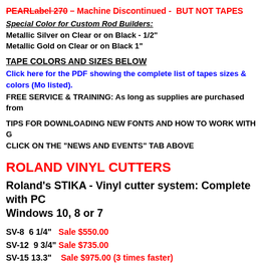PEARLabel 270 – Machine Discontinued - BUT NOT TAPES
Special Color for Custom Rod Builders:
Metallic Silver on Clear or on Black - 1/2"
Metallic Gold on Clear or on Black 1"
TAPE COLORS AND SIZES BELOW
Click here for the PDF showing the complete list of tapes sizes & colors (Mo listed).
FREE SERVICE & TRAINING: As long as supplies are purchased from
TIPS FOR DOWNLOADING NEW FONTS AND HOW TO WORK WITH G CLICK ON THE "NEWS AND EVENTS" TAB ABOVE
ROLAND VINYL CUTTERS
Roland's STIKA - Vinyl cutter system: Complete with PC Windows 10, 8 or 7
SV-8  6 1/4"   Sale $550.00
SV-12  9 3/4" Sale $735.00
SV-15 13.3"    Sale $975.00 (3 times faster)
Makes it easy to cut out graphics you've designed on to vinyl sheets. included so you can immediately start cutting (or cut directly from Co STIKA is  amazingly compact and lightweight. Just connect the STIKA POWER. STIKA  will then produce attractive decals, POP, signs, labels with   incredible ease. You can continuously cut graphics as long as